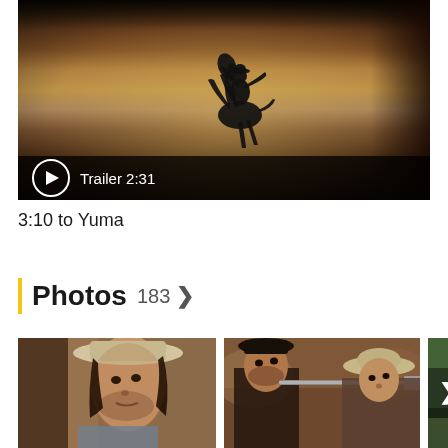[Figure (screenshot): Movie trailer thumbnail showing a dusty Western scene with a silhouetted figure on horseback mid-action. A play button and 'Trailer 2:31' label appear at the bottom.]
3:10 to Yuma
Photos 183 >
[Figure (photo): First photo thumbnail showing an actor in a Western hat close-up, looking alarmed]
[Figure (photo): Second photo thumbnail showing two men in Western attire, one aiming a rifle]
[Figure (photo): Third partial photo thumbnail showing green rocky background, with a '>' navigation arrow overlay]